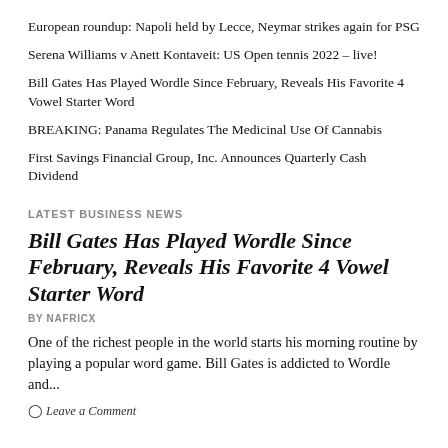European roundup: Napoli held by Lecce, Neymar strikes again for PSG
Serena Williams v Anett Kontaveit: US Open tennis 2022 – live!
Bill Gates Has Played Wordle Since February, Reveals His Favorite 4 Vowel Starter Word
BREAKING: Panama Regulates The Medicinal Use Of Cannabis
First Savings Financial Group, Inc. Announces Quarterly Cash Dividend
LATEST BUSINESS NEWS
Bill Gates Has Played Wordle Since February, Reveals His Favorite 4 Vowel Starter Word
BY NAFRICX
One of the richest people in the world starts his morning routine by playing a popular word game. Bill Gates is addicted to Wordle and...
Leave a Comment